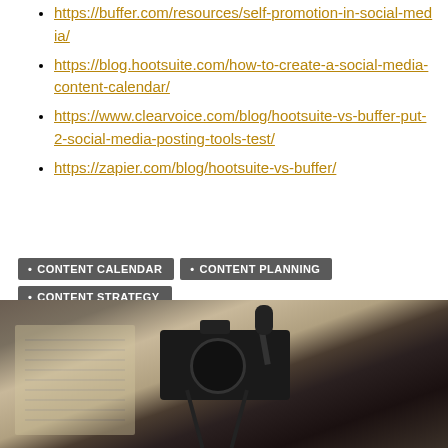https://buffer.com/resources/self-promotion-in-social-media/
https://blog.hootsuite.com/how-to-create-a-social-media-content-calendar/
https://www.clearvoice.com/blog/hootsuite-vs-buffer-put-2-social-media-posting-tools-test/
https://zapier.com/blog/hootsuite-vs-buffer/
CONTENT CALENDAR · CONTENT PLANNING · CONTENT STRATEGY · SOCIAL MEDIA
[Figure (photo): A camera on a tripod with a microphone attached, photographed in sepia/dark tones suggesting a production or recording setup.]